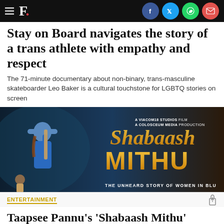F. [with social icons: Facebook, Twitter, WhatsApp, Email]
Stay on Board navigates the story of a trans athlete with empathy and respect
The 71-minute documentary about non-binary, trans-masculine skateboarder Leo Baker is a cultural touchstone for LGBTQ stories on screen
[Figure (photo): Movie poster for 'Shabaash Mithu' showing a woman in cricket gear holding a bat, with text: A VIACOM18 STUDIOS FILM A COLOSCEUM MEDIA PRODUCTION, Shabaash Mithu, THE UNHEARD STORY OF WOMEN IN BLUE]
ENTERTAINMENT
Taapsee Pannu's 'Shabaash Mithu' heads to Voot Select for OTT release
Movie released in theatres on July 15